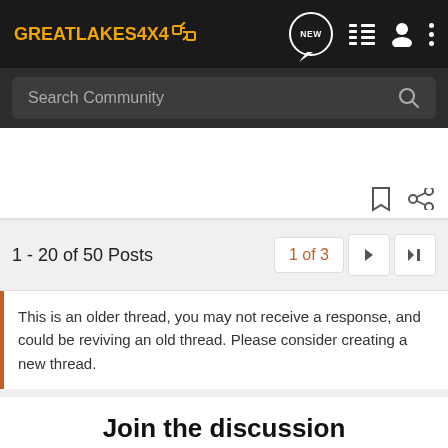[Figure (screenshot): GreatLakes4x4 community forum website screenshot showing navigation header with logo, search bar, post pagination (1-20 of 50 Posts, 1 of 3), an old thread notice, a Join the Discussion section, and an ON X OFFROAD advertisement banner.]
GREATLAKES4x4
Search Community
1 - 20 of 50 Posts
1 of 3
This is an older thread, you may not receive a response, and could be reviving an old thread. Please consider creating a new thread.
Join the discussion
OFFROAD TRAIL MAPS & GPS  TRY FOR FREE  ON X OFFROAD